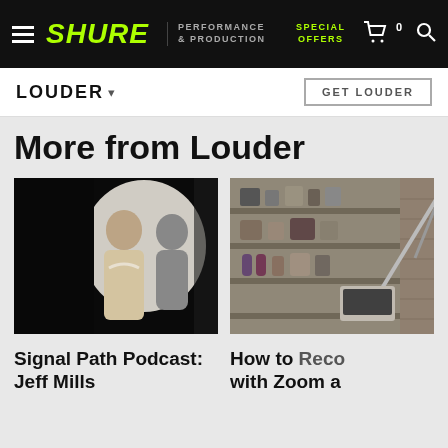SHURE | PERFORMANCE & PRODUCTION | SPECIAL OFFERS
LOUDER
More from Louder
[Figure (photo): Black and white styled portrait of a man (Jeff Mills) in profile against a white circular backdrop with shadow]
Signal Path Podcast: Jeff Mills
[Figure (photo): Partial image of a recording studio setup with shelves and a microphone arm visible]
How to Record with Zoom a…